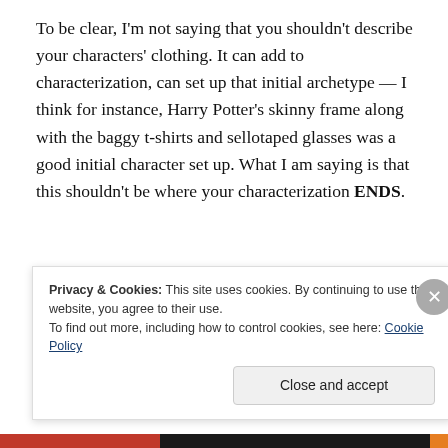To be clear, I'm not saying that you shouldn't describe your characters' clothing. It can add to characterization, can set up that initial archetype — I think for instance, Harry Potter's skinny frame along with the baggy t-shirts and sellotaped glasses was a good initial character set up. What I am saying is that this shouldn't be where your characterization ENDS.
I'm saying that you need to move beyond the material.
Privacy & Cookies: This site uses cookies. By continuing to use this website, you agree to their use.
To find out more, including how to control cookies, see here: Cookie Policy
Close and accept